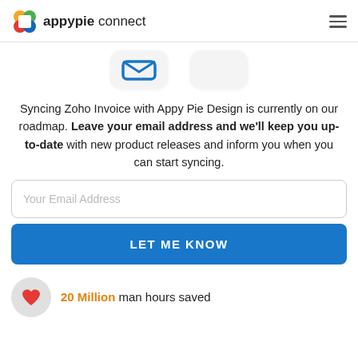appypie connect
[Figure (screenshot): Two app icon boxes partially visible at top center of page]
Syncing Zoho Invoice with Appy Pie Design is currently on our roadmap. Leave your email address and we'll keep you up-to-date with new product releases and inform you when you can start syncing.
Your Email Address
LET ME KNOW
20 Million man hours saved